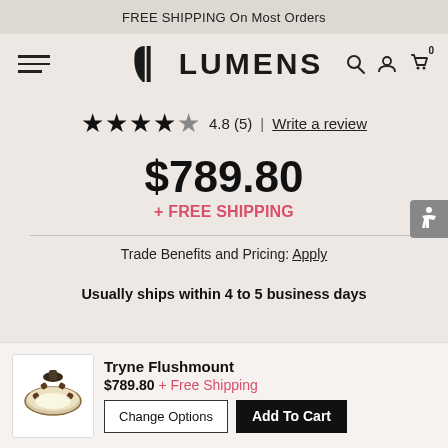FREE SHIPPING On Most Orders
[Figure (logo): Lumens logo with bracket mark and text LUMENS]
4.8 (5)  Write a review
$789.80
+ FREE SHIPPING
Trade Benefits and Pricing: Apply
Usually ships within 4 to 5 business days
Tryne Flushmount
$789.80 + Free Shipping
Change Options
Add To Cart